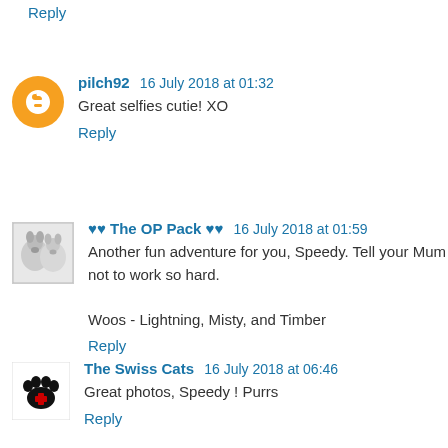Reply
pilch92  16 July 2018 at 01:32
Great selfies cutie! XO
Reply
♥♥ The OP Pack ♥♥  16 July 2018 at 01:59
Another fun adventure for you, Speedy. Tell your Mum not to work so hard.

Woos - Lightning, Misty, and Timber
Reply
The Swiss Cats  16 July 2018 at 06:46
Great photos, Speedy ! Purrs
Reply